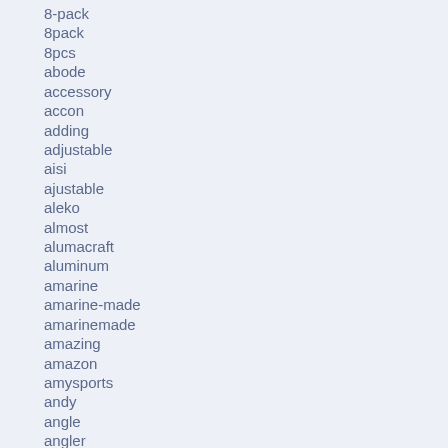8-pack
8pack
8pcs
abode
accessory
accon
adding
adjustable
aisi
ajustable
aleko
almost
alumacraft
aluminum
amarine
amarine-made
amarinemade
amazing
amazon
amysports
andy
angle
angler
angler's
another
antique
aqua